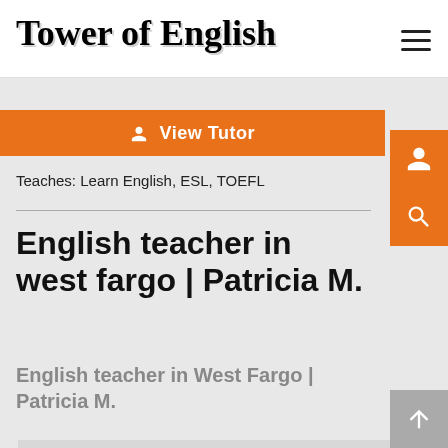Tower of English
[Figure (screenshot): Orange 'View Tutor' button bar]
Teaches: Learn English, ESL, TOEFL
English teacher in west fargo | Patricia M.
English teacher in West Fargo | Patricia M.
[Figure (photo): Outdoor landscape photo showing rocky hillside with desert vegetation including cacti, overcast sky]